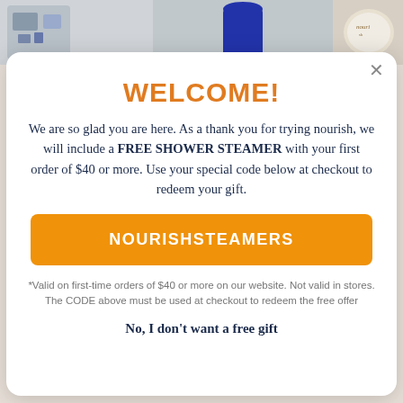[Figure (photo): Background showing product images including a blue bottle and nourish branded product tin]
WELCOME!
We are so glad you are here. As a thank you for trying nourish, we will include a FREE SHOWER STEAMER with your first order of $40 or more. Use your special code below at checkout to redeem your gift.
NOURISHSTEAMERS
*Valid on first-time orders of $40 or more on our website. Not valid in stores. The CODE above must be used at checkout to redeem the free offer
No, I don't want a free gift